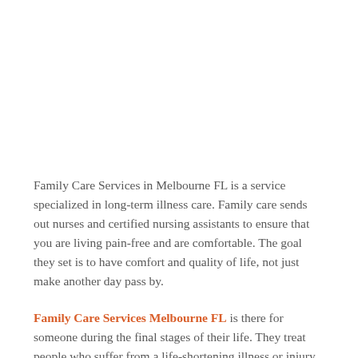Family Care Services in Melbourne FL is a service specialized in long-term illness care. Family care sends out nurses and certified nursing assistants to ensure that you are living pain-free and are comfortable. The goal they set is to have comfort and quality of life, not just make another day pass by.
Family Care Services Melbourne FL is there for someone during the final stages of their life. They treat people who suffer from a life-shortening illness or injury. This type of service provides medical care, emotional care, and support during this hard time. They are not only there for the